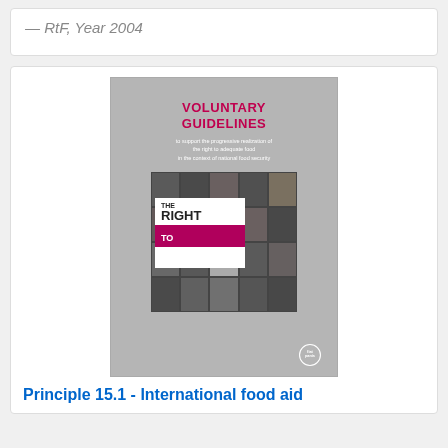— RtF, Year 2004
[Figure (illustration): Book cover of 'Voluntary Guidelines to support the progressive realization of the right to adequate food in the context of national food security', featuring a collage of faces and the text 'The Right to Food' with FAO logo.]
Principle 15.1 - International food aid